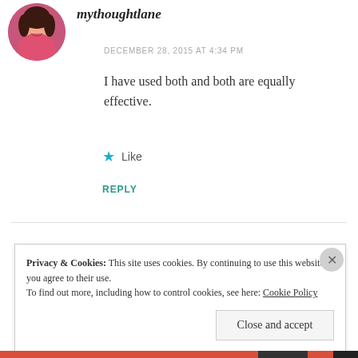[Figure (photo): Circular avatar photo of a woman with dark hair wearing a pink top, smiling]
mythoughtlane
DECEMBER 28, 2015 AT 4:34 PM
I have used both and both are equally effective.
★ Like
REPLY
Privacy & Cookies: This site uses cookies. By continuing to use this website, you agree to their use.
To find out more, including how to control cookies, see here: Cookie Policy
Close and accept